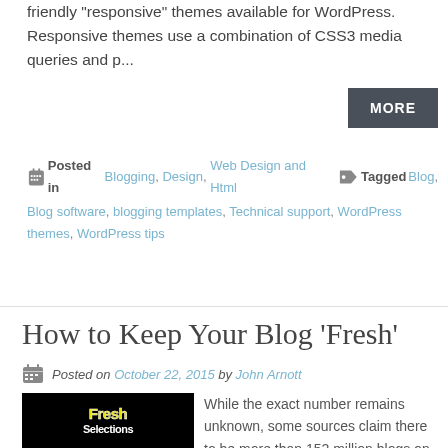friendly "responsive" themes available for WordPress. Responsive themes use a combination of CSS3 media queries and p...
MORE
Posted in Blogging, Design, Web Design and Html   Tagged Blog, Blog software, blogging templates, Technical support, WordPress themes, WordPress tips
How to Keep Your Blog ‘Fresh’
Posted on October 22, 2015 by John Arnott
[Figure (photo): Fresh Selections logo on black background]
While the exact number remains unknown, some sources claim there to be more than 152 million blogs on